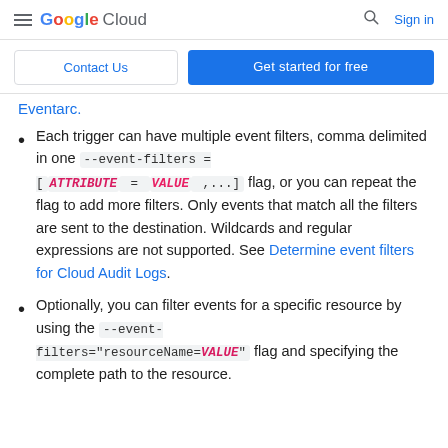Google Cloud  Sign in
Contact Us  Get started for free
Eventarc.
Each trigger can have multiple event filters, comma delimited in one --event-filters = [ATTRIBUTE = VALUE,...] flag, or you can repeat the flag to add more filters. Only events that match all the filters are sent to the destination. Wildcards and regular expressions are not supported. See Determine event filters for Cloud Audit Logs.
Optionally, you can filter events for a specific resource by using the --event-filters="resourceName=VALUE" flag and specifying the complete path to the resource.